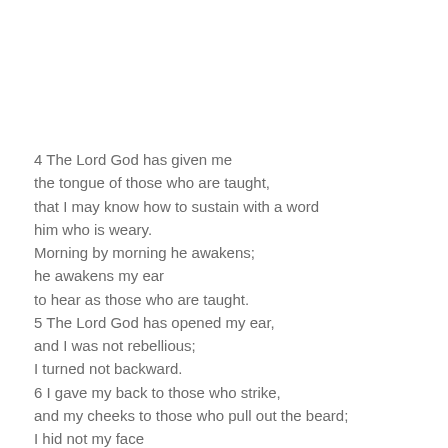4 The Lord God has given me
the tongue of those who are taught,
that I may know how to sustain with a word
him who is weary.
Morning by morning he awakens;
he awakens my ear
to hear as those who are taught.
5 The Lord God has opened my ear,
and I was not rebellious;
I turned not backward.
6 I gave my back to those who strike,
and my cheeks to those who pull out the beard;
I hid not my face
from disgrace and spitting.